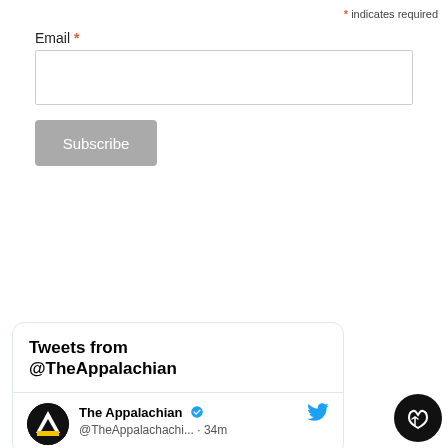* indicates required
Email *
[Figure (screenshot): Email input text field, empty, with a light gray border]
[Figure (screenshot): Gray Subscribe button]
[Figure (screenshot): Twitter/Tweets widget showing 'Tweets from @TheAppalachian' header, The Appalachian account with verified badge, handle @TheAppalachachi... · 34m, and a Twitter bird icon]
[Figure (screenshot): Black circular like/thumbs-up button in bottom right corner]